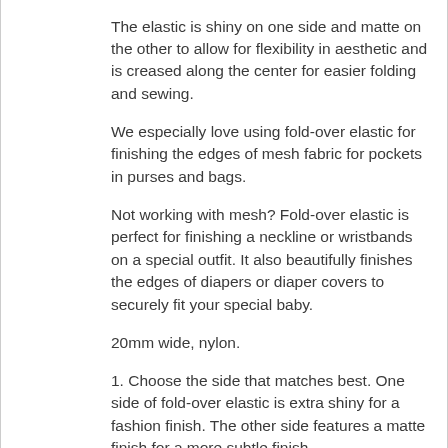The elastic is shiny on one side and matte on the other to allow for flexibility in aesthetic and is creased along the center for easier folding and sewing.
We especially love using fold-over elastic for finishing the edges of mesh fabric for pockets in purses and bags.
Not working with mesh? Fold-over elastic is perfect for finishing a neckline or wristbands on a special outfit. It also beautifully finishes the edges of diapers or diaper covers to securely fit your special baby.
20mm wide, nylon.
1. Choose the side that matches best. One side of fold-over elastic is extra shiny for a fashion finish. The other side features a matte finish for a more subtle finish.
2. Position the edges of fabric in center of fold-over elastic.
3. Fold elastic over raw edges and pin at...